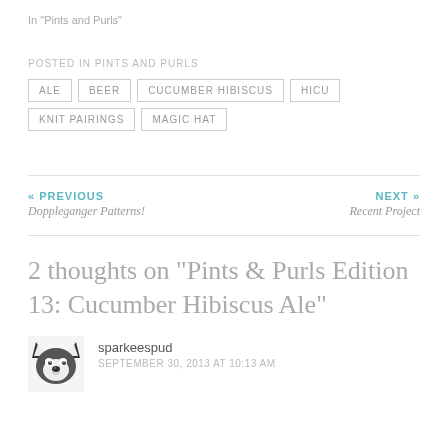In "Pints and Purls"
POSTED IN PINTS AND PURLS
ALE  BEER  CUCUMBER HIBISCUS  HICU  KNIT PAIRINGS  MAGIC HAT
« PREVIOUS
Doppleganger Patterns!
NEXT »
Recent Project
2 thoughts on “Pints & Purls Edition 13: Cucumber Hibiscus Ale”
sparkeespud